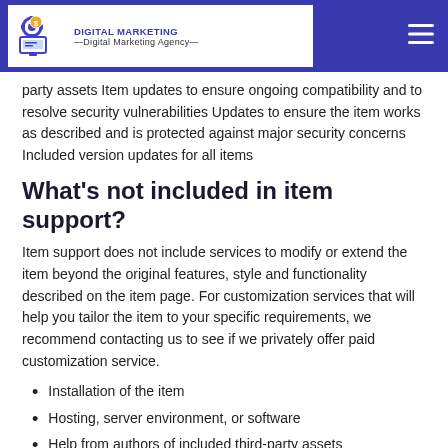Digital Marketing Agency
party assets Item updates to ensure ongoing compatibility and to resolve security vulnerabilities Updates to ensure the item works as described and is protected against major security concerns Included version updates for all items
What's not included in item support?
Item support does not include services to modify or extend the item beyond the original features, style and functionality described on the item page. For customization services that will help you tailor the item to your specific requirements, we recommend contacting us to see if we privately offer paid customization service.
Installation of the item
Hosting, server environment, or software
Help from authors of included third-party assets